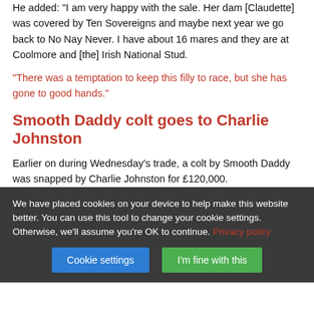He added: "I am very happy with the sale. Her dam [Claudette] was covered by Ten Sovereigns and maybe next year we go back to No Nay Never. I have about 16 mares and they are at Coolmore and [the] Irish National Stud.
“There was a temptation to keep this filly to race, but she has gone to good hands.”
Smooth Daddy colt goes to Charlie Johnston
Earlier on during Wednesday’s trade, a colt by Smooth Daddy was snapped by Charlie Johnston for £120,000.
We have placed cookies on your device to help make this website better. You can use this tool to change your cookie settings. Otherwise, we’ll assume you’re OK to continue. Privacy policy
Cookie settings | I'm fine with this